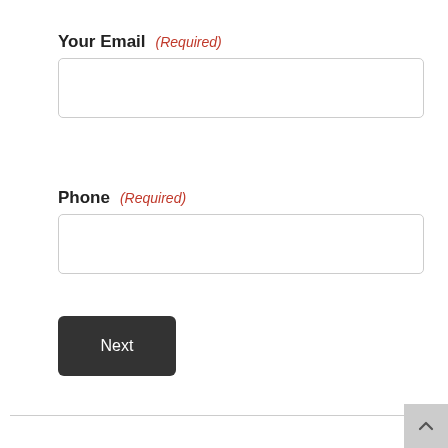Your Email (Required)
[Figure (screenshot): Empty email input text field with rounded border]
Phone (Required)
[Figure (screenshot): Empty phone input text field with rounded border]
[Figure (screenshot): Next button - dark gray rounded rectangle with white text]